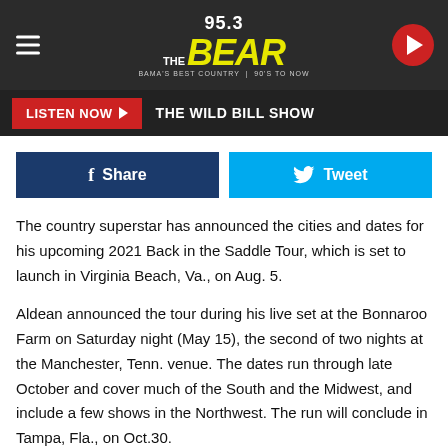[Figure (logo): 95.3 The Bear radio station header logo with hamburger menu and play button]
LISTEN NOW ▶  THE WILD BILL SHOW
[Figure (infographic): Facebook Share button and Twitter Tweet button side by side]
The country superstar has announced the cities and dates for his upcoming 2021 Back in the Saddle Tour, which is set to launch in Virginia Beach, Va., on Aug. 5.
Aldean announced the tour during his live set at the Bonnaroo Farm on Saturday night (May 15), the second of two nights at the Manchester, Tenn. venue. The dates run through late October and cover much of the South and the Midwest, and include a few shows in the Northwest. The run will conclude in Tampa, Fla., on Oct.30.